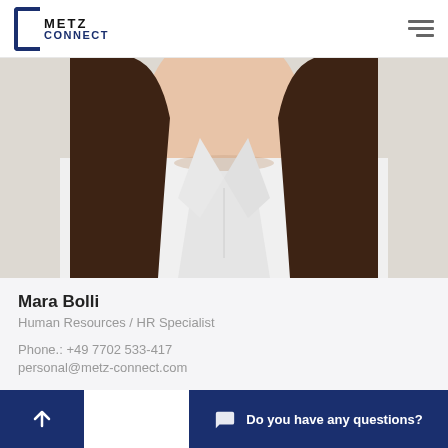METZ CONNECT
[Figure (photo): Close-up photo of a woman with long dark hair wearing a white blouse, cropped at torso/neck level against a light background.]
Mara Bolli
Human Resources / HR Specialist
Phone.: +49 7702 533-417
personal@metz-connect.com
Do you have any questions?